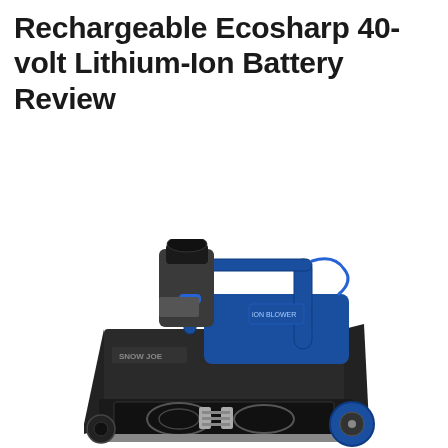Rechargeable Ecosharp 40-volt Lithium-Ion Battery Review
[Figure (photo): A Snow Joe battery-powered snow blower with blue and black body, featuring a chute at the top, blue handle bars, and auger at the bottom front. The machine is shown from a front-right angle.]